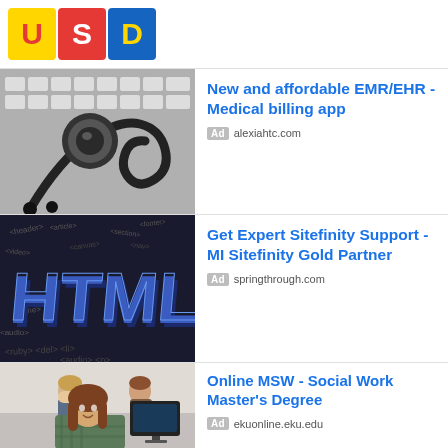[Figure (logo): USD logo made of colorful alphabet blocks with letters U, S, D]
[Figure (photo): Close-up photo of a black stethoscope on a keyboard]
New and affordable EMR/EHR - Medical billing app
Ad alexiahtc.com
[Figure (photo): HTML5 3D text graphic with coding-related words scattered around]
Get Expert Sitefinity Support - MI Sitefinity Gold Partner
Ad springthrough.com
[Figure (photo): Students at computers in a classroom, woman in foreground smiling]
Online MSW - Social Work Master's Degree
Ad ekuonline.eku.edu